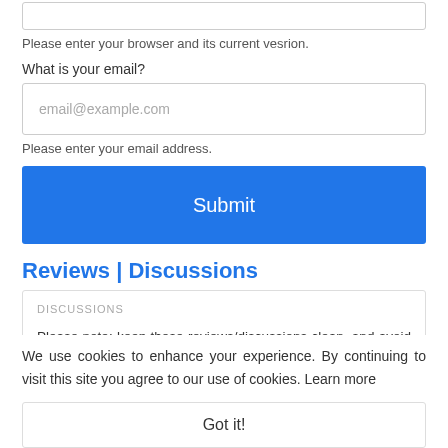[Figure (screenshot): Top input box (partially visible, truncated at top)]
Please enter your browser and its current vesrion.
What is your email?
[Figure (screenshot): Email input field with placeholder email@example.com]
Please enter your email address.
[Figure (screenshot): Blue Submit button]
Reviews | Discussions
DISCUSSIONS
Please note: keep these reviews/discussions clean, and avoid the
We use cookies to enhance your experience. By continuing to visit this site you agree to our use of cookies. Learn more
Got it!